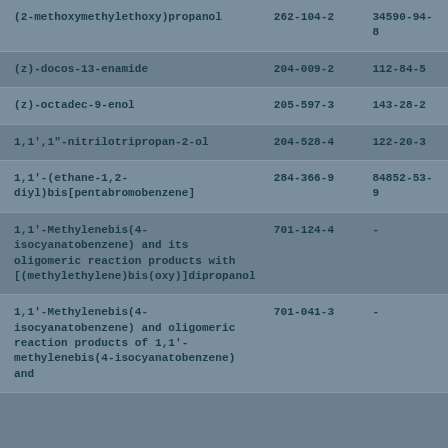| (2-methoxymethylethoxy)propanol | 262-104-2 | 34590-94-8 |
| (z)-docos-13-enamide | 204-009-2 | 112-84-5 |
| (z)-octadec-9-enol | 205-597-3 | 143-28-2 |
| 1,1',1"-nitrilotripropan-2-ol | 204-528-4 | 122-20-3 |
| 1,1'-(ethane-1,2-diyl)bis[pentabromobenzene] | 284-366-9 | 84852-53-9 |
| 1,1'-Methylenebis(4-isocyanatobenzene) and its oligomeric reaction products with [(methylethylene)bis(oxy)]dipropanol | 701-124-4 | - |
| 1,1'-Methylenebis(4-isocyanatobenzene) and oligomeric reaction products of 1,1'-methylenebis(4-isocyanatobenzene) and | 701-041-3 | - |